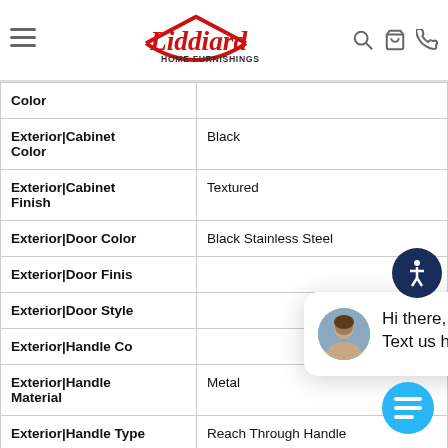Liddiard Home Furnishings — navigation header with logo, hamburger menu, search, cart, and phone icons
| Attribute | Value |
| --- | --- |
| Color |  |
| Exterior|Cabinet Color | Black |
| Exterior|Cabinet Finish | Textured |
| Exterior|Door Color | Black Stainless Steel |
| Exterior|Door Finish |  |
| Exterior|Door Style |  |
| Exterior|Handle Color |  |
| Exterior|Handle Material | Metal |
| Exterior|Handle Type | Reach Through Handle |
| Exterior|Hidden Hinge | Yes |